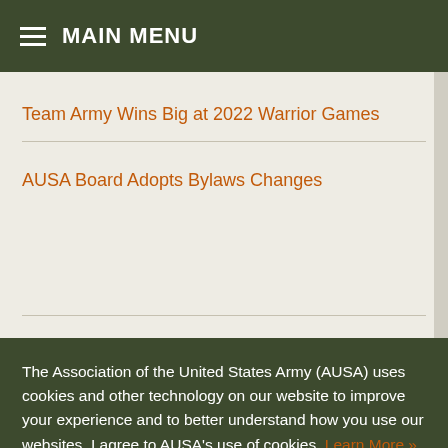MAIN MENU
Team Army Wins Big at 2022 Warrior Games
AUSA Board Adopts Bylaws Changes
The Association of the United States Army (AUSA) uses cookies and other technology on our website to improve your experience and to better understand how you use our websites. I agree to AUSA's use of cookies. Learn More »
Decline
I Accept